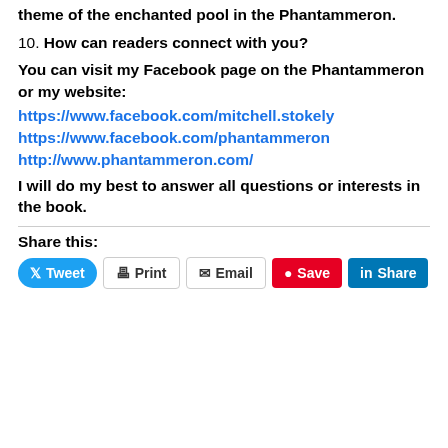theme of the enchanted pool in the Phantammeron.
10. How can readers connect with you?
You can visit my Facebook page on the Phantammeron or my website:
https://www.facebook.com/mitchell.stokely
https://www.facebook.com/phantammeron
http://www.phantammeron.com/
I will do my best to answer all questions or interests in the book.
Share this:
Tweet   Print   Email   Save   Share